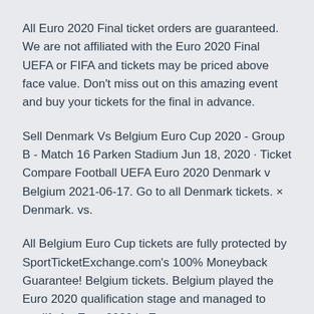All Euro 2020 Final ticket orders are guaranteed. We are not affiliated with the Euro 2020 Final UEFA or FIFA and tickets may be priced above face value. Don't miss out on this amazing event and buy your tickets for the final in advance.
Sell Denmark Vs Belgium Euro Cup 2020 - Group B - Match 16 Parken Stadium Jun 18, 2020 · Ticket Compare Football UEFA Euro 2020 Denmark v Belgium 2021-06-17. Go to all Denmark tickets. × Denmark. vs.
All Belgium Euro Cup tickets are fully protected by SportTicketExchange.com's 100% Moneyback Guarantee! Belgium tickets. Belgium played the Euro 2020 qualification stage and managed to qualify for Euro 2020 in Europe.